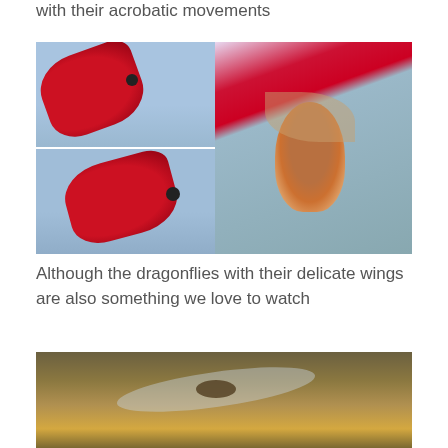with their acrobatic movements
[Figure (photo): Two photos of hummingbirds near a red feeder against a blue sky (top and bottom left panels), and one close-up photo of a hummingbird hovering near a pink/red feeder (right panel).]
Although the dragonflies with their delicate wings are also something we love to watch
[Figure (photo): Close-up photo of a dragonfly with delicate wings resting on a lichen-covered surface.]